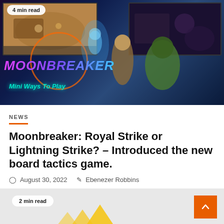[Figure (screenshot): Moonbreaker game promotional banner with 'Mini Ways To Play' text, showing game screenshots and fantasy characters against a dark space background. A '4 min read' badge is visible in the top-left corner.]
NEWS
Moonbreaker: Royal Strike or Lightning Strike? – Introduced the new board tactics game.
August 30, 2022  Ebenezer Robbins
[Figure (screenshot): Partial view of another article card with '2 min read' badge and yellow triangle shapes on a gray background.]